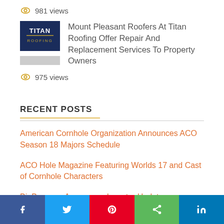981 views
[Figure (photo): Titan Roofing logo and thumbnail image]
Mount Pleasant Roofers At Titan Roofing Offer Repair And Replacement Services To Property Owners
975 views
RECENT POSTS
American Cornhole Organization Announces ACO Season 18 Majors Schedule
ACO Hole Magazine Featuring Worlds 17 and Cast of Cornhole Characters
BigBecause Announces Investor Update
Facebook  Twitter  Pinterest  Share  LinkedIn